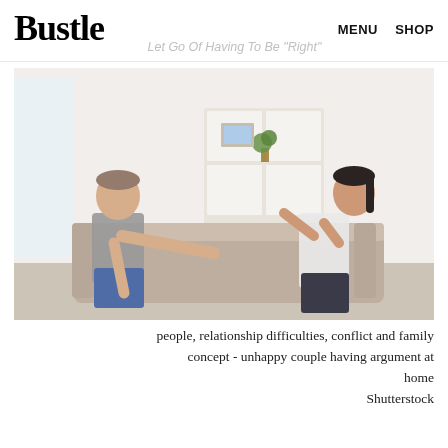Bustle  SHOP  MENU  Let Go Of Having To Be "Right"
[Figure (photo): A couple sitting on a beige sofa, having an argument. A man in a grey t-shirt on the left gestures with his hands toward a woman on the right in a white blouse, who gestures back. A white bookshelf with a plant is visible in the background.]
people, relationship difficulties, conflict and family concept - unhappy couple having argument at home
Shutterstock